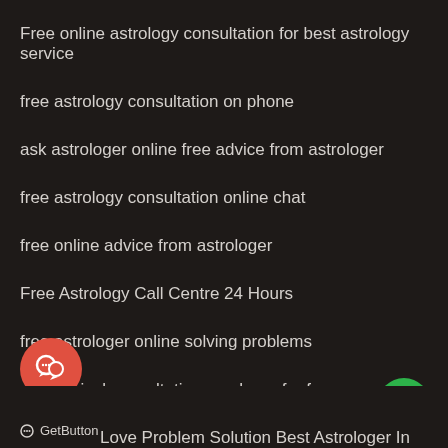Free online astrology consultation for best astrology service
free astrology consultation on phone
ask astrologer online free advice from astrologer
free astrology consultation online chat
free online advice from astrologer
Free Astrology Call Centre 24 Hours
free astrologer online solving problems
astrological consultation on phone for free
Love Problem Solution Best Astrologer In India
GetButton